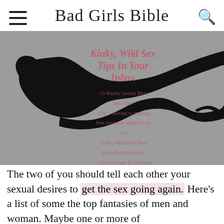Bad Girls Bible
[Figure (illustration): Black silhouette of a woman lying on her side on a gray background, with a newsletter overlay showing 'Kinky, Wild Sex Tips In Your Inbox' and bullet points about sex tips.]
The two of you should tell each other your sexual desires to get the sex going again. Here's a list of some the top fantasies of men and woman. Maybe one or more of